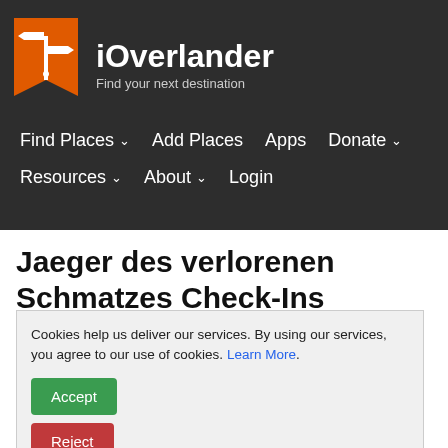[Figure (logo): iOverlander logo: orange banner/badge shape with white directional signpost icon]
iOverlander - Find your next destination
Find Places ˅   Add Places   Apps   Donate ˅   Resources ˅   About ˅   Login
Jaeger des verlorenen Schmatzes Check-Ins
Cookies help us deliver our services. By using our services, you agree to our use of cookies. Learn More.
Accept
Reject